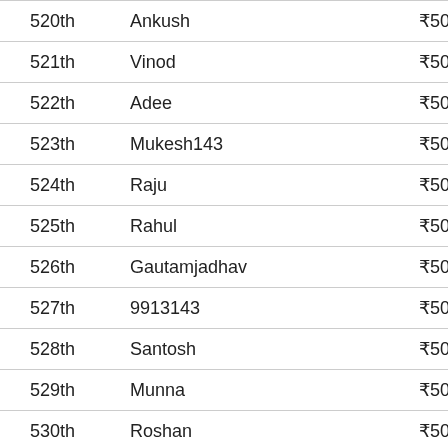| Rank | Name | Prize |
| --- | --- | --- |
| 520th | Ankush | ₹50 |
| 521th | Vinod | ₹50 |
| 522th | Adee | ₹50 |
| 523th | Mukesh143 | ₹50 |
| 524th | Raju | ₹50 |
| 525th | Rahul | ₹50 |
| 526th | Gautamjadhav | ₹50 |
| 527th | 9913143 | ₹50 |
| 528th | Santosh | ₹50 |
| 529th | Munna | ₹50 |
| 530th | Roshan | ₹50 |